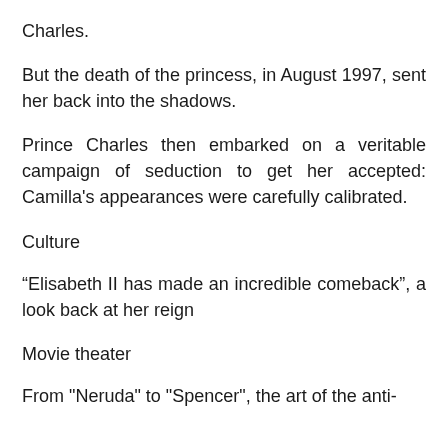Charles.
But the death of the princess, in August 1997, sent her back into the shadows.
Prince Charles then embarked on a veritable campaign of seduction to get her accepted: Camilla's appearances were carefully calibrated.
Culture
“Elisabeth II has made an incredible comeback”, a look back at her reign
Movie theater
From "Neruda" to "Spencer", the art of the anti-